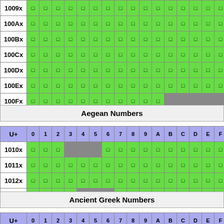| U+ | 0 | 1 | 2 | 3 | 4 | 5 | 6 | 7 | 8 | 9 | A | B | C | D | E | F |
| --- | --- | --- | --- | --- | --- | --- | --- | --- | --- | --- | --- | --- | --- | --- | --- | --- |
| 1009x | □ | □ | □ | □ | □ | □ | □ | □ | □ | □ | □ | □ | □ | □ | □ | □ |
| 100Ax | □ | □ | □ | □ | □ | □ | □ | □ | □ | □ | □ | □ | □ | □ | □ | □ |
| 100Bx | □ | □ | □ | □ | □ | □ | □ | □ | □ | □ | □ | □ | □ | □ | □ | □ |
| 100Cx | □ | □ | □ | □ | □ | □ | □ | □ | □ | □ | □ | □ | □ | □ | □ | □ |
| 100Dx | □ | □ | □ | □ | □ | □ | □ | □ | □ | □ | □ | □ | □ | □ | □ | □ |
| 100Ex | □ | □ | □ | □ | □ | □ | □ | □ | □ | □ | □ | □ | □ | □ | □ | □ |
| 100Fx | □ | □ | □ | □ | □ | □ | □ | □ | □ | □ | □ | [gray] | [gray] | [gray] | [gray] | [gray] |
Aegean Numbers
| U+ | 0 | 1 | 2 | 3 | 4 | 5 | 6 | 7 | 8 | 9 | A | B | C | D | E | F |
| --- | --- | --- | --- | --- | --- | --- | --- | --- | --- | --- | --- | --- | --- | --- | --- | --- |
| 1010x | □ | □ | □ | [gray] | [gray] | [gray] | □ | □ | □ | □ | □ | □ | □ | □ | □ | □ |
| 1011x | □ | □ | □ | □ | □ | □ | □ | □ | □ | □ | □ | □ | □ | □ | □ | □ |
| 1012x | □ | □ | □ | □ | □ | □ | □ | □ | □ | □ | □ | □ | □ | □ | □ | □ |
| 1013x | □ | □ | □ | □ | [gray] | [gray] | [gray] | □ | □ | □ | □ | □ | □ | □ | □ | □ |
Ancient Greek Numbers
| U+ | 0 | 1 | 2 | 3 | 4 | 5 | 6 | 7 | 8 | 9 | A | B | C | D | E | F |
| --- | --- | --- | --- | --- | --- | --- | --- | --- | --- | --- | --- | --- | --- | --- | --- | --- |